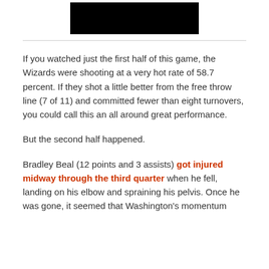[Figure (photo): Black rectangular image at top center of page]
If you watched just the first half of this game, the Wizards were shooting at a very hot rate of 58.7 percent. If they shot a little better from the free throw line (7 of 11) and committed fewer than eight turnovers, you could call this an all around great performance.

But the second half happened.

Bradley Beal (12 points and 3 assists) got injured midway through the third quarter when he fell, landing on his elbow and spraining his pelvis. Once he was gone, it seemed that Washington's momentum